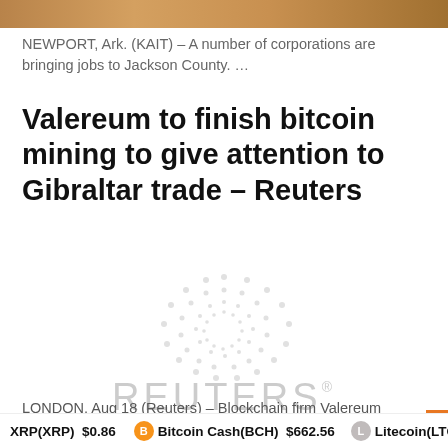[Figure (photo): Top banner image showing warm golden/amber tones, partially visible]
NEWPORT, Ark. (KAIT) – A number of corporations are bringing jobs to Jackson County. …
Valereum to finish bitcoin mining to give attention to Gibraltar trade – Reuters
[Figure (logo): Reuters logo – dot globe icon above REUTERS® wordmark in light gray]
LONDON, Aug 18 (Reuters) – Blockchain firm Valereum (6TJ.SG) stated
XRP(XRP) $0.86   Bitcoin Cash(BCH) $662.56   Litecoin(LTC)